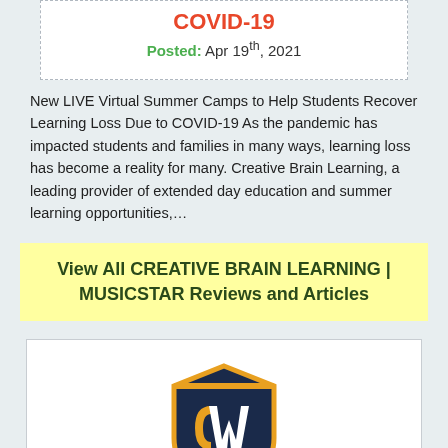COVID-19
Posted: Apr 19th, 2021
New LIVE Virtual Summer Camps to Help Students Recover Learning Loss Due to COVID-19 As the pandemic has impacted students and families in many ways, learning loss has become a reality for many. Creative Brain Learning, a leading provider of extended day education and summer learning opportunities,…
View All CREATIVE BRAIN LEARNING | MUSICSTAR Reviews and Articles
[Figure (logo): CodeWizards HQ shield logo with CW letters in gold and navy, with CodeWizardsHQ wordmark below]